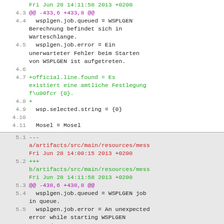Fri Jun 28 14:11:58 2013 +0200
4.3  @@ -433,6 +433,8 @@
4.4   wsplgen.job.queued = WSPLGEN Berechnung befindet sich in Warteschlange.
4.5   wsplgen.job.error = Ein unerwarteter Fehler beim Starten von WSPLGEN ist aufgetreten.
4.6
4.7  +official.line.found = Es existiert eine amtliche Festlegung f\u00fcr {0}.
4.8  +
4.9   wsp.selected.string = {0}
4.10
4.11  Mosel = Mosel
5.1  ---
a/artifacts/src/main/resources/mess
Fri Jun 28 14:00:15 2013 +0200
5.2  +++
b/artifacts/src/main/resources/mess
Fri Jun 28 14:11:58 2013 +0200
5.3  @@ -438,6 +438,8 @@
5.4   wsplgen.job.queued = WSPLGEN job in queue.
5.5   wsplgen.job.error = An unexpected error while starting WSPLGEN occured.
5.6
5.7  +official.line.found = Found...